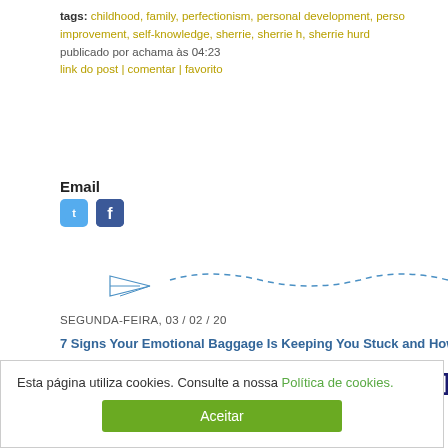tags: childhood, family, perfectionism, personal development, personal improvement, self-knowledge, sherrie, sherrie h, sherrie hurd
publicado por achama às 04:23
link do post | comentar | favorito
Email
[Figure (other): Paper airplane with dashed trail divider line]
SEGUNDA-FEIRA, 03 / 02 / 20
7 Signs Your Emotional Baggage Is Keeping You Stuck and How
7 Signs Your Emotional Baggage Is Keeping You Stuck and How to
Sherrie Hurd.
Esta página utiliza cookies. Consulte a nossa Política de cookies.
Aceitar